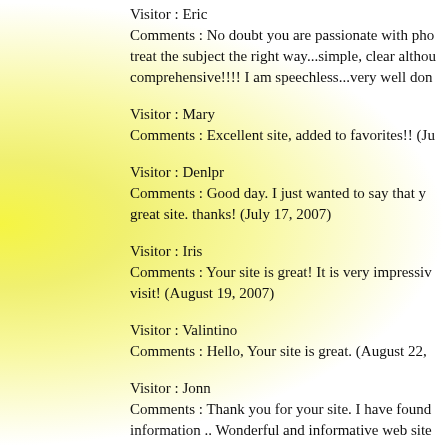Visitor : Eric
Comments : No doubt you are passionate with pho treat the subject the right way...simple, clear althou comprehensive!!!! I am speechless...very well don
Visitor : Mary
Comments : Excellent site, added to favorites!! (Ju
Visitor : Denlpr
Comments :  Good day. I just wanted to say that y great site. thanks! (July 17, 2007)
Visitor : Iris
Comments :  Your site is great! It is very impressiv visit! (August 19, 2007)
Visitor : Valintino
Comments : Hello, Your site is great. (August 22,
Visitor : Jonn
Comments :  Thank you for your site. I have found information .. Wonderful and informative web site